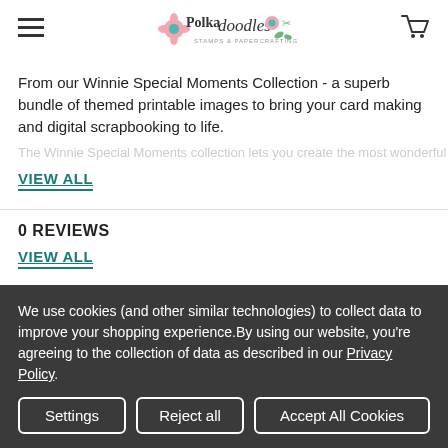Polkadoodles Stamps & Papercrafting
From our Winnie Special Moments Collection - a superb bundle of themed printable images to bring your card making and digital scrapbooking to life.
VIEW ALL
0 REVIEWS
VIEW ALL
We use cookies (and other similar technologies) to collect data to improve your shopping experience.By using our website, you're agreeing to the collection of data as described in our Privacy Policy.
Settings | Reject all | Accept All Cookies